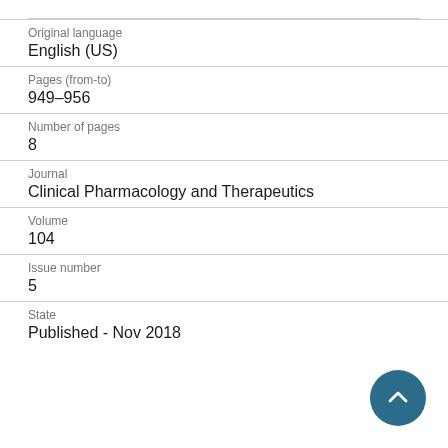Original language
English (US)
Pages (from-to)
949-956
Number of pages
8
Journal
Clinical Pharmacology and Therapeutics
Volume
104
Issue number
5
State
Published - Nov 2018